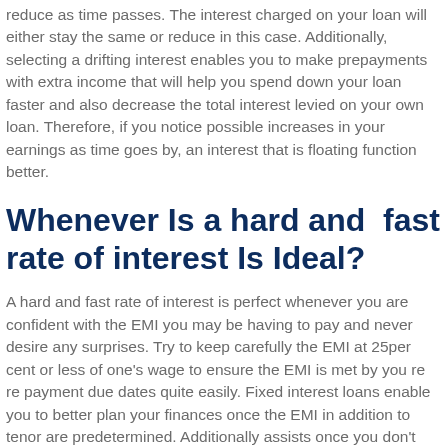reduce as time passes. The interest charged on your loan will either stay the same or reduce in this case. Additionally, selecting a drifting interest enables you to make prepayments with extra income that will help you spend down your loan faster and also decrease the total interest levied on your own loan. Therefore, if you notice possible increases in your earnings as time goes by, an interest that is floating function better.
Whenever Is a hard and fast rate of interest Is Ideal?
A hard and fast rate of interest is perfect whenever you are confident with the EMI you may be having to pay and never desire any surprises. Try to keep carefully the EMI at 25per cent or less of one's wage to ensure the EMI is met by you re re payment due dates quite easily. Fixed interest loans enable you to better plan your finances once the EMI in addition to tenor are predetermined. Additionally assists once you don't